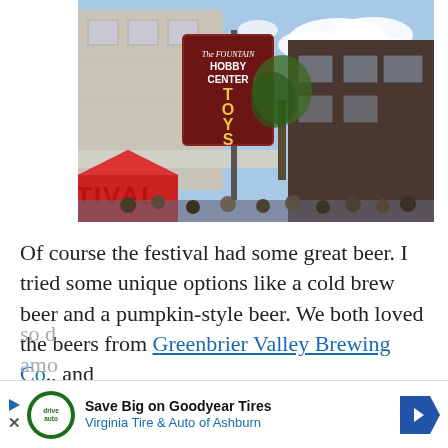[Figure (photo): Street scene showing vintage signage for 'The Fountain Hobby Center TOYS' with a crowd of people below, a red festival tent on the left, old brick buildings, and a blue sky with clouds in the background.]
Of course the festival had some great beer.  I tried some unique options like a cold brew beer and a pumpkin-style beer.  We both loved the beers from Greenbrier Valley Brewing Co., and so d[obscured] amo[obscured]
[Figure (infographic): Advertisement banner: Save Big on Goodyear Tires — Virginia Tire & Auto of Ashburn, with DriveAuto logo and blue arrow.]